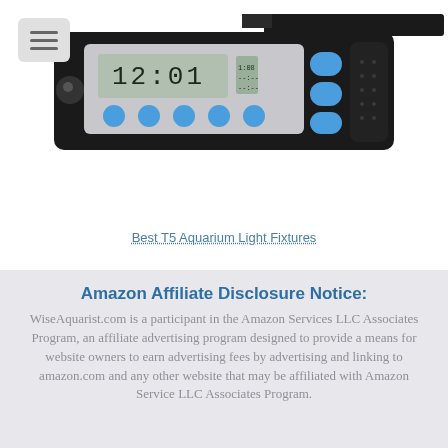[Figure (photo): Photo of an aquarium light fixture controller with digital timer display showing time, blue buttons, and black housing. A partial image of a black aquarium light bar is visible at top right.]
Best T5 Aquarium Light Fixtures
Amazon Affiliate Disclosure Notice: WiseAquarist.com is a participant in the Amazon Services LLC Associates Program, an affiliate advertising program designed to provide a means for website owners to earn advertising fees by advertising and linking to amazon.com and any other website that may be affiliated with Amazon Service LLC Associates Program.